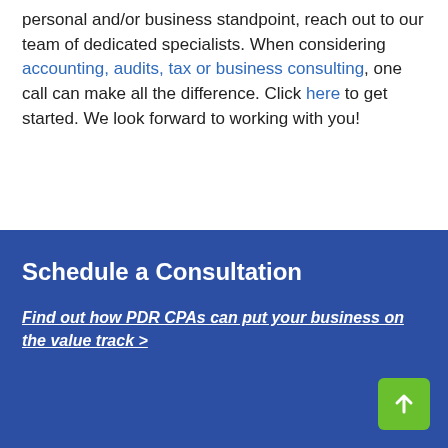personal and/or business standpoint, reach out to our team of dedicated specialists. When considering accounting, audits, tax or business consulting, one call can make all the difference. Click here to get started. We look forward to working with you!
Schedule a Consultation
Find out how PDR CPAs can put your business on the value track >